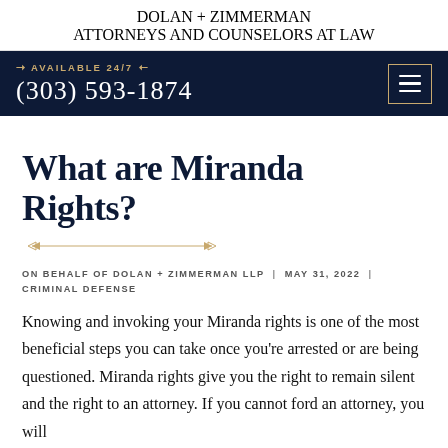DOLAN + ZIMMERMAN
ATTORNEYS AND COUNSELORS AT LAW
AVAILABLE 24/7  (303) 593-1874
What are Miranda Rights?
ON BEHALF OF DOLAN + ZIMMERMAN LLP | MAY 31, 2022 | CRIMINAL DEFENSE
Knowing and invoking your Miranda rights is one of the most beneficial steps you can take once you're arrested or are being questioned. Miranda rights give you the right to remain silent and the right to an attorney. If you cannot ford an attorney, you will